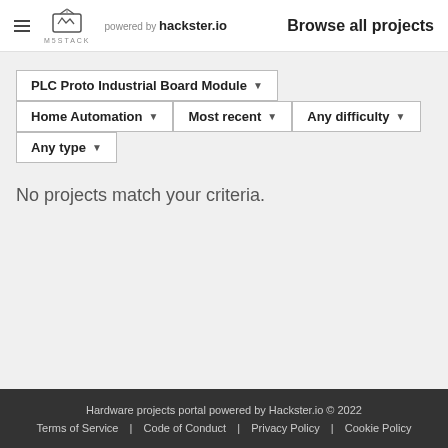M5STACK powered by hackster.io — Browse all projects
PLC Proto Industrial Board Module ▾
Home Automation ▾   Most recent ▾   Any difficulty ▾
Any type ▾
No projects match your criteria.
Hardware projects portal powered by Hackster.io © 2022
Terms of Service    Code of Conduct    Privacy Policy    Cookie Policy